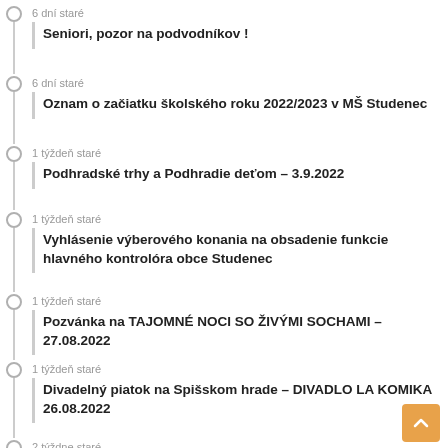6 dní staré
Seniori, pozor na podvodníkov !
6 dní staré
Oznam o začiatku školského roku 2022/2023 v MŠ Studenec
1 týždeň staré
Podhradské trhy a Podhradie deťom – 3.9.2022
1 týždeň staré
Vyhlásenie výberového konania na obsadenie funkcie hlavného kontrolóra obce Studenec
1 týždeň staré
Pozvánka na TAJOMNÉ NOCI SO ŽIVÝMI SOCHAMI – 27.08.2022
1 týždeň staré
Divadelný piatok na Spišskom hrade – DIVADLO LA KOMIKA 26.08.2022
2 týždne staré
Pozvánka na PIANO SHOW JOZEFA HOLLÉHO NA SPIŠSKOM HRADE (v prípade nepriaznivého počasia v kongresovej sále v Sp. Podhradí) 20.08.2022
2 týždne staré